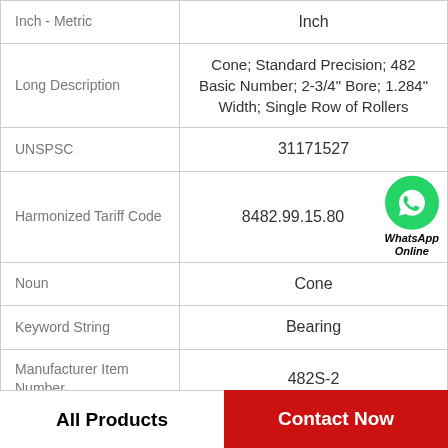| Attribute | Value |
| --- | --- |
| Inch - Metric | Inch |
| Long Description | Cone; Standard Precision; 482 Basic Number; 2-3/4" Bore; 1.284" Width; Single Row of Rollers |
| UNSPSC | 31171527 |
| Harmonized Tariff Code | 8482.99.15.80 |
| Noun | Cone |
| Keyword String | Bearing |
| Manufacturer Item Number | 482S-2 |
All Products
Contact Now